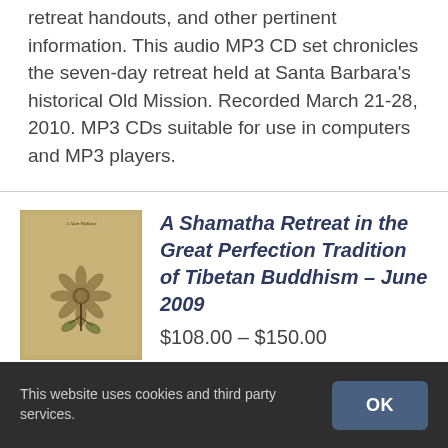retreat handouts, and other pertinent information. This audio MP3 CD set chronicles the seven-day retreat held at Santa Barbara's historical Old Mission. Recorded March 21-28, 2010. MP3 CDs suitable for use in computers and MP3 players.
[Figure (illustration): Book cover with aged parchment background and decorative lotus/floral illustration in a dark sketch style, with text 'A Alan Wallace' at top]
A Shamatha Retreat in the Great Perfection Tradition of Tibetan Buddhism – June 2009
$108.00 – $150.00
This website uses cookies and third party services.